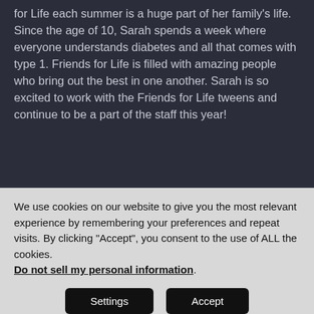for Life each summer is a huge part of her family's life. Since the age of 10, Sarah spends a week where everyone understands diabetes and all that comes with type 1. Friends for Life is filled with amazing people who bring out the best in one another. Sarah is so excited to work with the Friends for Life tweens and continue to be a part of the staff this year!
We use cookies on our website to give you the most relevant experience by remembering your preferences and repeat visits. By clicking "Accept", you consent to the use of ALL the cookies. Do not sell my personal information.